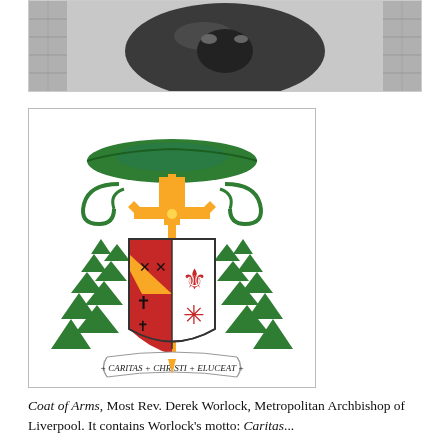[Figure (photo): Close-up photograph of a dark metallic circular object, possibly a seal or disc, with a textured stone or tile border.]
[Figure (illustration): Coat of Arms of Most Rev. Derek Worlock, Metropolitan Archbishop of Liverpool. Features a heraldic shield with red and white quarters, a yellow cross with green decorative elements and tassels, and a scroll banner reading '+ CARITAS + CHRISTI + ELUCEAT +']
Coat of Arms, Most Rev. Derek Worlock, Metropolitan Archbishop of Liverpool. It contains Worlock's motto: Caritas...